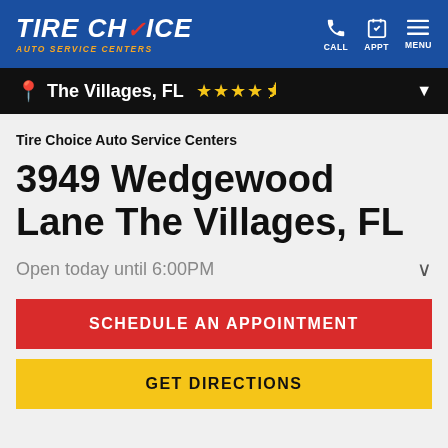TIRE CHOICE AUTO SERVICE CENTERS — CALL APPT MENU
The Villages, FL ★★★★½
Tire Choice Auto Service Centers
3949 Wedgewood Lane The Villages, FL
Open today until 6:00PM
SCHEDULE AN APPOINTMENT
GET DIRECTIONS